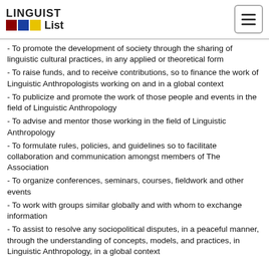LINGUIST List
- To promote the development of society through the sharing of linguistic cultural practices, in any applied or theoretical form
- To raise funds, and to receive contributions, so to finance the work of Linguistic Anthropologists working on and in a global context
- To publicize and promote the work of those people and events in the field of Linguistic Anthropology
- To advise and mentor those working in the field of Linguistic Anthropology
- To formulate rules, policies, and guidelines so to facilitate collaboration and communication amongst members of The Association
- To organize conferences, seminars, courses, fieldwork and other events
- To work with groups similar globally and with whom to exchange information
- To assist to resolve any sociopolitical disputes, in a peaceful manner, through the understanding of concepts, models, and practices, in Linguistic Anthropology, in a global context